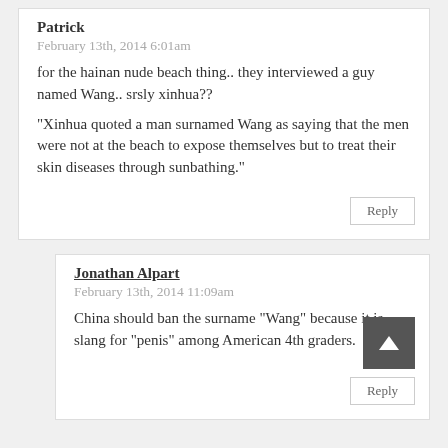Patrick
February 13th, 2014 6:01am
for the hainan nude beach thing.. they interviewed a guy named Wang.. srsly xinhua??
“Xinhua quoted a man surnamed Wang as saying that the men were not at the beach to expose themselves but to treat their skin diseases through sunbathing.”
Jonathan Alpart
February 13th, 2014 11:09am
China should ban the surname “Wang” because it is slang for “penis” among American 4th graders.